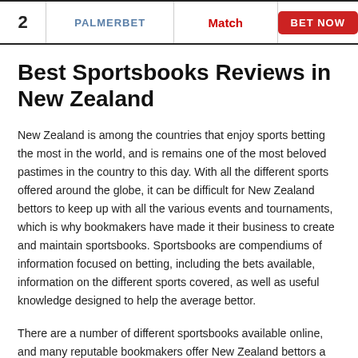| # | Brand | Offer | Action |
| --- | --- | --- | --- |
| 2 | PALMERBET | Match | BET NOW |
Best Sportsbooks Reviews in New Zealand
New Zealand is among the countries that enjoy sports betting the most in the world, and is remains one of the most beloved pastimes in the country to this day. With all the different sports offered around the globe, it can be difficult for New Zealand bettors to keep up with all the various events and tournaments, which is why bookmakers have made it their business to create and maintain sportsbooks. Sportsbooks are compendiums of information focused on betting, including the bets available, information on the different sports covered, as well as useful knowledge designed to help the average bettor.
There are a number of different sportsbooks available online, and many reputable bookmakers offer New Zealand bettors a full range of sports to choose from, so it can take a little time to find a sportsbook that is perfect for every event. With this in mind, players can learn about the